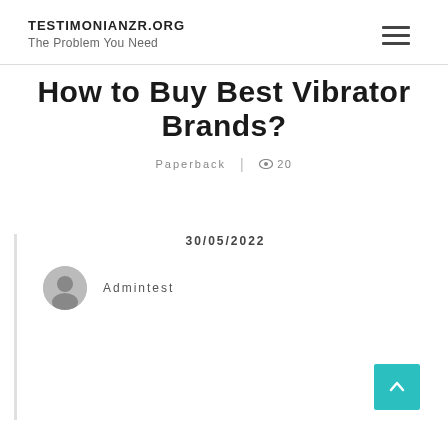TESTIMONIANZR.ORG
The Problem You Need
How to Buy Best Vibrator Brands?
Paperback | 20
30/05/2022
Admintest